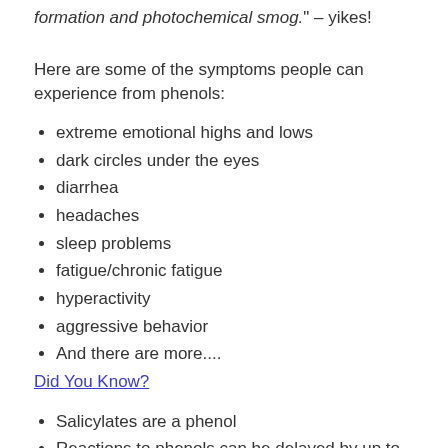formation and photochemical smog." – yikes!
Here are some of the symptoms people can experience from phenols:
extreme emotional highs and lows
dark circles under the eyes
diarrhea
headaches
sleep problems
fatigue/chronic fatigue
hyperactivity
aggressive behavior
And there are more....
Did You Know?
Salicylates are a phenol
Reactions to phenols can be delayed by up to 3 days!